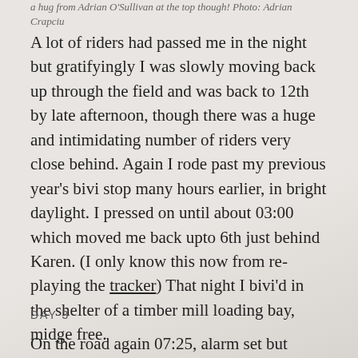a hug from Adrian O'Sullivan at the top though! Photo: Adrian Crapciu
A lot of riders had passed me in the night but gratifyingly I was slowly moving back up through the field and was back to 12th by late afternoon, though there was a huge and intimidating number of riders very close behind. Again I rode past my previous year's bivi stop many hours earlier, in bright daylight. I pressed on until about 03:00 which moved me back upto 6th just behind Karen. (I only know this now from re-playing the tracker) That night I bivi'd in the shelter of a timber mill loading bay, midge free.
DAY 3
On the road again 07:25, alarm set but again